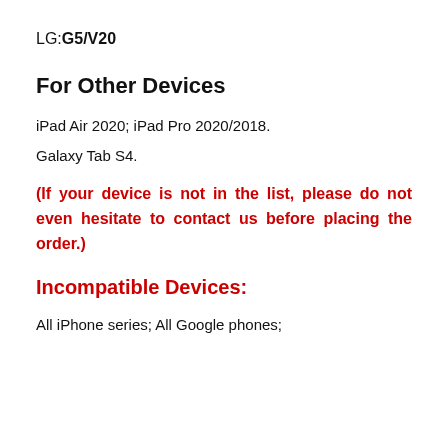LG:G5/V20
For Other Devices
iPad Air 2020; iPad Pro 2020/2018.
Galaxy Tab S4.
(If your device is not in the list, please do not even hesitate to contact us before placing the order.)
Incompatible Devices:
All iPhone series; All Google phones;